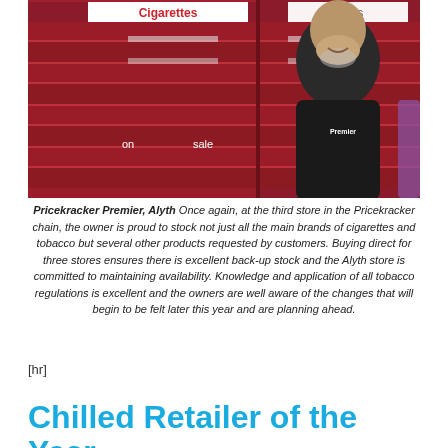[Figure (photo): A smiling man wearing a black Premier polo shirt standing in front of a red tobacco gantry with signs reading 'Cigarettes', 'Cigars', 'on sale', 'here']
Pricekracker Premier, Alyth Once again, at the third store in the Pricekracker chain, the owner is proud to stock not just all the main brands of cigarettes and tobacco but several other products requested by customers. Buying direct for three stores ensures there is excellent back-up stock and the Alyth store is committed to maintaining availability. Knowledge and application of all tobacco regulations is excellent and the owners are well aware of the changes that will begin to be felt later this year and are planning ahead.
[hr]
Chilled Retailer of the Year